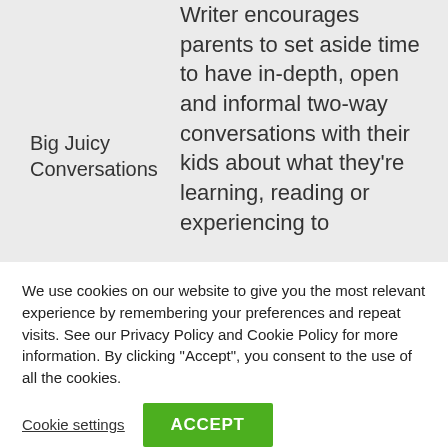Big Juicy Conversations
Writer encourages parents to set aside time to have in-depth, open and informal two-way conversations with their kids about what they’re learning, reading or experiencing to
We use cookies on our website to give you the most relevant experience by remembering your preferences and repeat visits. See our Privacy Policy and Cookie Policy for more information. By clicking “Accept”, you consent to the use of all the cookies.
Cookie settings
ACCEPT